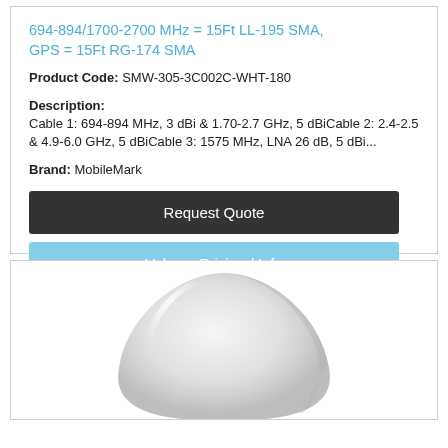694-894/1700-2700 MHz = 15Ft LL-195 SMA, GPS = 15Ft RG-174 SMA
Product Code: SMW-305-3C002C-WHT-180
Description:
Cable 1: 694-894 MHz, 3 dBi & 1.70-2.7 GHz, 5 dBiCable 2: 2.4-2.5 & 4.9-6.0 GHz, 5 dBiCable 3: 1575 MHz, LNA 26 dB, 5 dBi...
Brand: MobileMark
Request Quote
Volume Pricing / Info
[Figure (photo): White antenna product photo on white background]